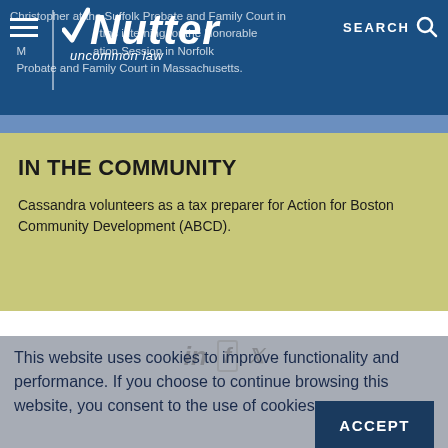Nutter — uncommon law
Christopher at the Suffolk Probate and Family Court in... interning for the Honorable... Probation Session in Norfolk Probate and Family Court in Massachusetts.
IN THE COMMUNITY
Cassandra volunteers as a tax preparer for Action for Boston Community Development (ABCD).
This website uses cookies to improve functionality and performance. If you choose to continue browsing this website, you consent to the use of cookies.